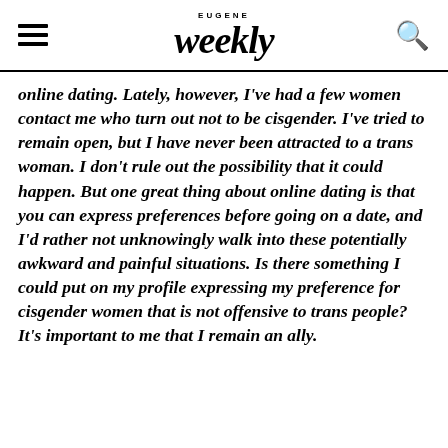EUGENE Weekly
online dating. Lately, however, I've had a few women contact me who turn out not to be cisgender. I've tried to remain open, but I have never been attracted to a trans woman. I don't rule out the possibility that it could happen. But one great thing about online dating is that you can express preferences before going on a date, and I'd rather not unknowingly walk into these potentially awkward and painful situations. Is there something I could put on my profile expressing my preference for cisgender women that is not offensive to trans people? It's important to me that I remain an ally.